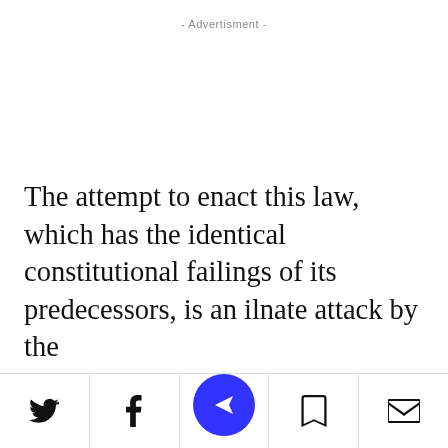- Advertisment -
The attempt to enact this law, which has the identical constitutional failings of its predecessors, is an il—nate attack by the
[Twitter] [Facebook] [NewsBreak] [Bookmark] [Mail]